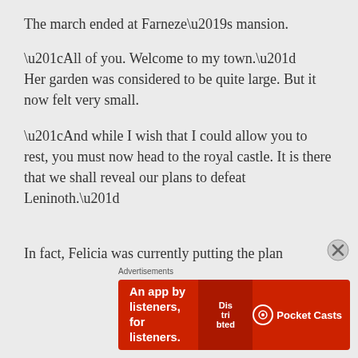The march ended at Farneze’s mansion.
“All of you. Welcome to my town.” Her garden was considered to be quite large. But it now felt very small.
“And while I wish that I could allow you to rest, you must now head to the royal castle. It is there that we shall reveal our plans to defeat Leninoth.”
In fact, Felicia was currently putting the plan
Advertisements
[Figure (other): Advertisement banner for Pocket Casts: An app by listeners, for listeners.]